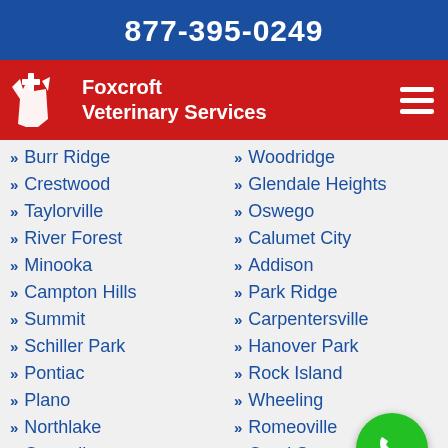877-395-0249
[Figure (logo): Foxcroft Veterinary Services logo with dog/cat icon and cross symbol on red background with hamburger menu]
Burr Ridge
Crestwood
Taylorville
River Forest
Minooka
Campton Hills
Summit
Schiller Park
Pontiac
Plano
Northlake
Centralia
Winnetka
Woodridge
Glendale Heights
Oswego
Calumet City
Addison
Park Ridge
Carpentersville
Hanover Park
Rock Island
Wheeling
Romeoville
Carol Stream
Streamwood